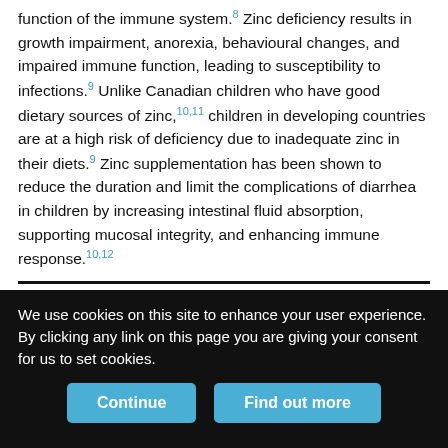function of the immune system.8 Zinc deficiency results in growth impairment, anorexia, behavioural changes, and impaired immune function, leading to susceptibility to infections.9 Unlike Canadian children who have good dietary sources of zinc,10,11 children in developing countries are at a high risk of deficiency due to inadequate zinc in their diets.9 Zinc supplementation has been shown to reduce the duration and limit the complications of diarrhea in children by increasing intestinal fluid absorption, supporting mucosal integrity, and enhancing immune response.10,12
Therapeutic role of zinc for pneumonia
The use of zinc as adjunctive therapy for pneumonia was evaluated
We use cookies on this site to enhance your user experience. By clicking any link on this page you are giving your consent for us to set cookies.